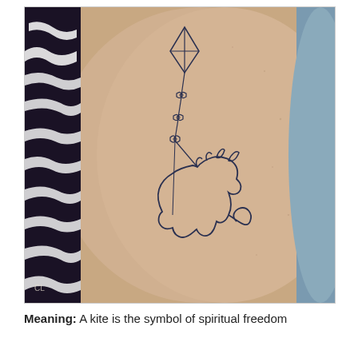[Figure (photo): A close-up photo of a tattoo on a person's leg/ankle. The tattoo depicts the outline of a cat (or dog) on its hind legs reaching upward, with a string attached to a kite above it. The string has small bow decorations along it. The kite is a diamond shape with a cross inside. On the left side of the frame, a black and white patterned fabric is visible.]
Meaning: A kite is the symbol of spiritual freedom